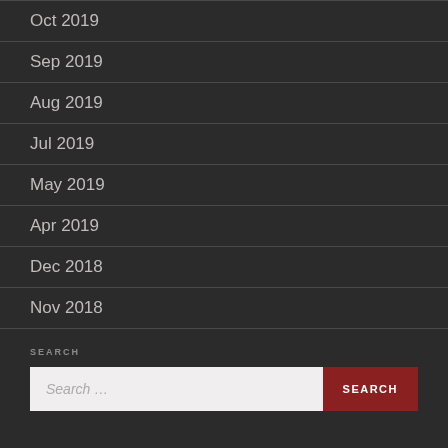Oct 2019
Sep 2019
Aug 2019
Jul 2019
May 2019
Apr 2019
Dec 2018
Nov 2018
SEARCH
Search …